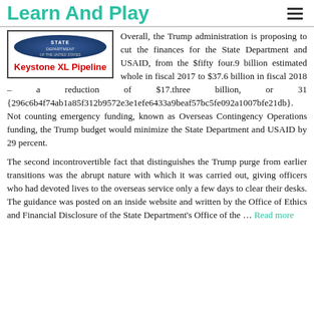Learn And Play
[Figure (illustration): Keystone XL Pipeline box with red bold text label, bordered, with a circular seal/logo image above]
Overall, the Trump administration is proposing to cut the finances for the State Department and USAID, from the $fifty four.9 billion estimated whole in fiscal 2017 to $37.6 billion in fiscal 2018 – a reduction of $17.three billion, or 31 {296c6b4f74ab1a85f312b9572e3e1efe6433a9beaf57bc5fe092a1007bfe21db}. Not counting emergency funding, known as Overseas Contingency Operations funding, the Trump budget would minimize the State Department and USAID by 29 percent.
The second incontrovertible fact that distinguishes the Trump purge from earlier transitions was the abrupt nature with which it was carried out, giving officers who had devoted lives to the overseas service only a few days to clear their desks. The guidance was posted on an inside website and written by the Office of Ethics and Financial Disclosure of the State Department's Office of the … Read more